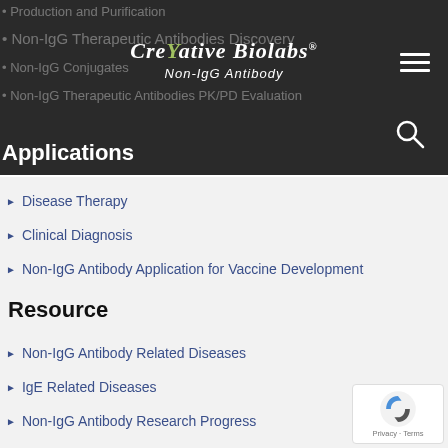Creative Biolabs Non-IgG Antibody
Applications
Disease Therapy
Clinical Diagnosis
Non-IgG Antibody Application for Vaccine Development
Resource
Non-IgG Antibody Related Diseases
IgE Related Diseases
Non-IgG Antibody Research Progress
Non-IgG Antibody Isotypes